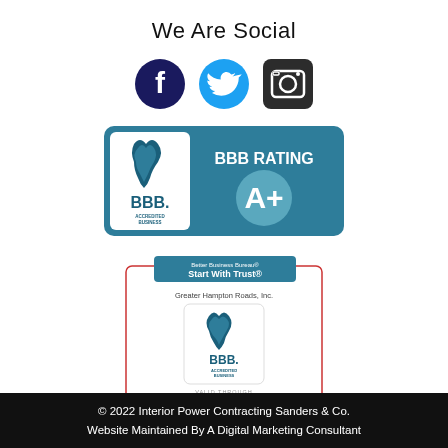We Are Social
[Figure (illustration): Three social media icons: Facebook (dark navy circle with white F), Twitter (cyan circle with white bird), Instagram (dark square with camera icon)]
[Figure (logo): BBB Accredited Business rating badge showing 'BBB RATING A+' on teal background with BBB flame logo]
[Figure (logo): BBB Accredited Business certificate seal from Better Business Bureau Greater Hampton Roads, Inc. with 'Start With Trust' header, BBB logo, VALID THROUGH 2019, bbb.org footer]
© 2022 Interior Power Contracting Sanders & Co.
Website Maintained By A Digital Marketing Consultant